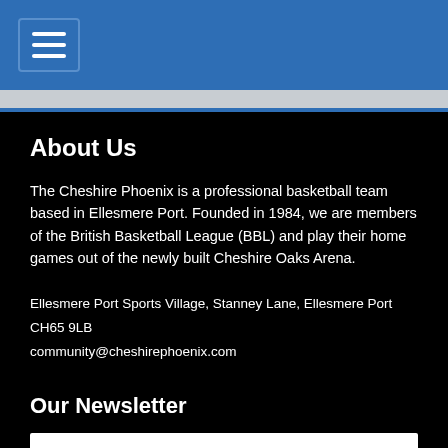Navigation menu header with hamburger icon
About Us
The Cheshire Phoenix is a professional basketball team based in Ellesmere Port. Founded in 1984, we are members of the British Basketball League (BBL) and play their home games out of the newly built Cheshire Oaks Arena.
Ellesmere Port Sports Village, Stanney Lane, Ellesmere Port CH65 9LB
community@cheshirephoenix.com
Our Newsletter
First Name